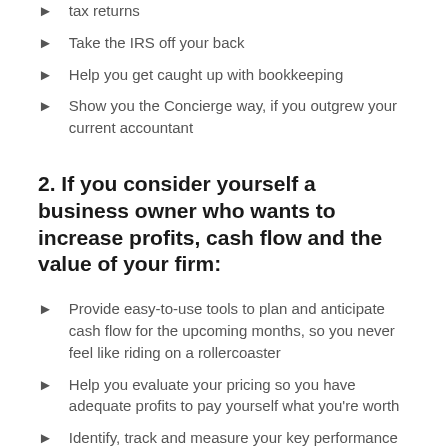tax returns
Take the IRS off your back
Help you get caught up with bookkeeping
Show you the Concierge way, if you outgrew your current accountant
2. If you consider yourself a business owner who wants to increase profits, cash flow and the value of your firm:
Provide easy-to-use tools to plan and anticipate cash flow for the upcoming months, so you never feel like riding on a rollercoaster
Help you evaluate your pricing so you have adequate profits to pay yourself what you're worth
Identify, track and measure your key performance indicators so you know how efficient your employees